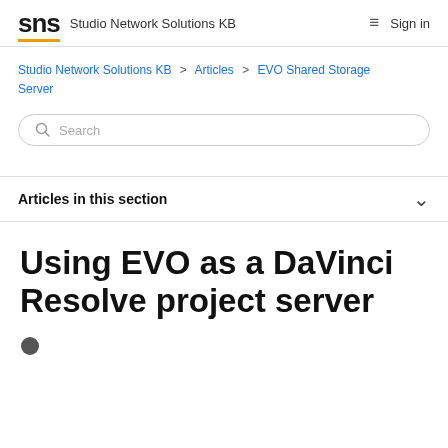SNS  Studio Network Solutions KB  Sign in
Studio Network Solutions KB > Articles > EVO Shared Storage Server
Search
Articles in this section
Using EVO as a DaVinci Resolve project server